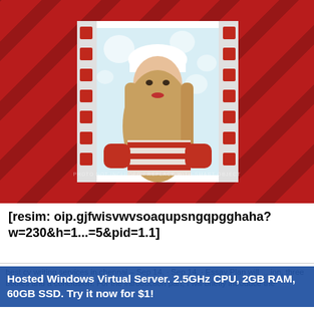[Figure (photo): Photo of a young woman wearing a fuzzy white winter hat and a red-and-white striped sweater, posed against a snowy bokeh background. The photo is framed within a film strip graphic (white frame with red perforations on left and right sides), set against a dark red fabric/shadow background.]
PHOTO NOT INCLUDED / REPLACE WITH SMART OBJECT
[resim: oip.gjfwisvwvsoaqupsngqpgghaha?w=230&h=1...=5&pid=1.1]
best cv writing services in chennai - Sep 14, · Sep 14, · Essay Plan will ... ion, three bodies and a conclusion. For the introduction part, I will briefly introduce the
Hosted Windows Virtual Server. 2.5GHz CPU, 2GB RAM, 60GB SSD. Try it now for $1!